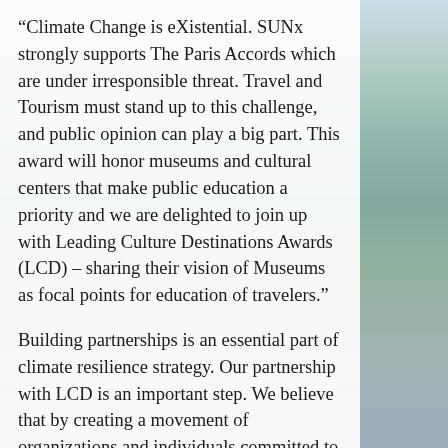“Climate Change is eXistential. SUNx strongly supports The Paris Accords which are under irresponsible threat. Travel and Tourism must stand up to this challenge, and public opinion can play a big part. This award will honor museums and cultural centers that make public education a priority and we are delighted to join up with Leading Culture Destinations Awards (LCD) – sharing their vision of Museums as focal points for education of travelers.”
Building partnerships is an essential part of climate resilience strategy. Our partnership with LCD is an important step. We believe that by creating a movement of organizations and individuals committed to climate education, innovation and resilience, we can catalyze change in the Travel & Tourism sector.
The judging panel of the Award is drawn from SUNx Council members with environmental, business, art, civil society and climate expertise. The process took